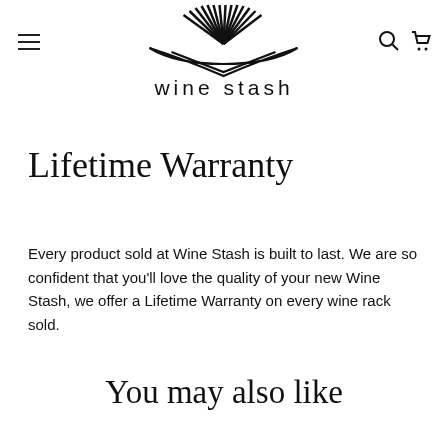wine stash
Lifetime Warranty
Every product sold at Wine Stash is built to last. We are so confident that you'll love the quality of your new Wine Stash, we offer a Lifetime Warranty on every wine rack sold.
You may also like